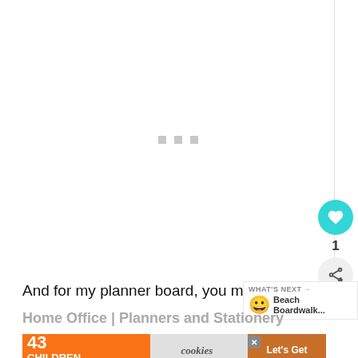[Figure (other): Loading placeholder area with three small grey squares centered in a white content area]
[Figure (other): Heart/like button (teal circle with white heart icon), count badge showing 1, and share button (grey circle with share icon)]
And for my planner board, you mig...
[Figure (other): WHAT'S NEXT panel with smiley emoji and text 'Beach Boardwalk...']
Home Office | Planners and Stationery
[Figure (other): Advertisement banner: '43 CHILDREN A Day Are Diagnosed With Cancer in the U.S.' with cookies for kids cancer and Let's Get Baking text with close button]